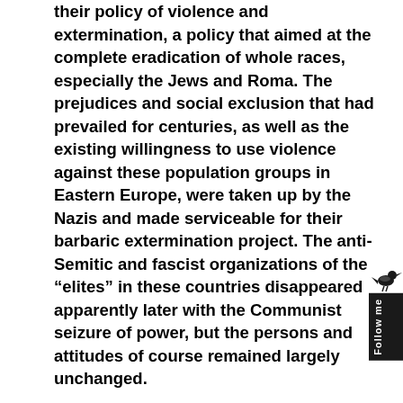their policy of violence and extermination, a policy that aimed at the complete eradication of whole races, especially the Jews and Roma. The prejudices and social exclusion that had prevailed for centuries, as well as the existing willingness to use violence against these population groups in Eastern Europe, were taken up by the Nazis and made serviceable for their barbaric extermination project. The anti-Semitic and fascist organizations of the "elites" in these countries disappeared apparently later with the Communist seizure of power, but the persons and attitudes of course remained largely unchanged.
While many leading members of fascist groups settled in the West in time, and others being executed or sentenced to lengthy prison terms in trials that were usually not according to the standards of constitutional democracies, there were also many who remained undisturbed. Among other things, the
[Figure (other): A small bird icon above a dark follow-me button/widget on the right side of the page]